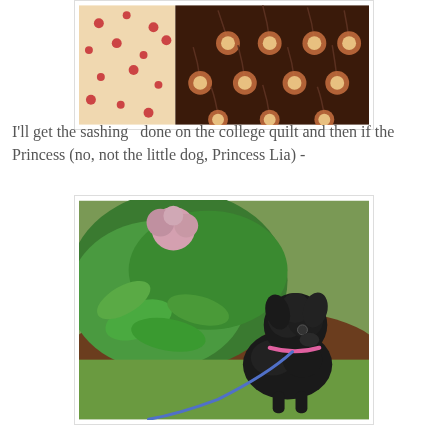[Figure (photo): Close-up photo of fabric swatches: a beige fabric with small red dots on the left, and a dark brown fabric with orange/red flower pattern on the right.]
I'll get the sashing  done on the college quilt and then if the Princess (no, not the little dog, Princess Lia) -
[Figure (photo): A small black fluffy dog on a blue leash sitting on green grass in front of green leafy bushes with a pink hydrangea bloom. The dog is wearing a pink collar.]